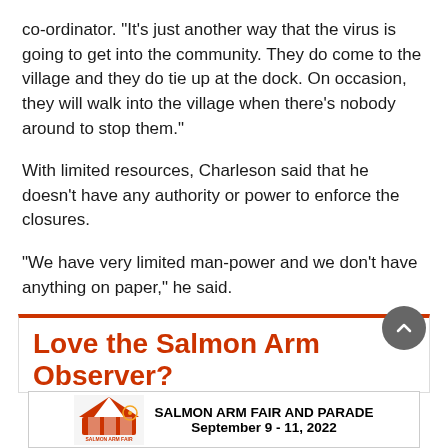co-ordinator. “It’s just another way that the virus is going to get into the community. They do come to the village and they do tie up at the dock. On occasion, they will walk into the village when there’s nobody around to stop them.”
With limited resources, Charleson said that he doesn’t have any authority or power to enforce the closures.
“We have very limited man-power and we don’t have anything on paper,” he said.
[Figure (infographic): Advertisement box with orange top border. Title text: 'Love the Salmon Arm Observer?' in orange bold font.]
[Figure (infographic): Banner advertisement for Salmon Arm Fair and Parade, September 9-11, 2022, with fair logo on the left.]